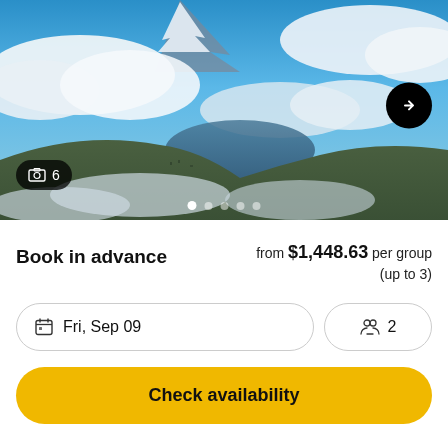[Figure (photo): Aerial view of a volcanic mountain peak with snow, a large lake and coastal town below, surrounded by dramatic cloud formations and blue sky.]
Book in advance
from $1,448.63 per group (up to 3)
Fri, Sep 09
2
Check availability